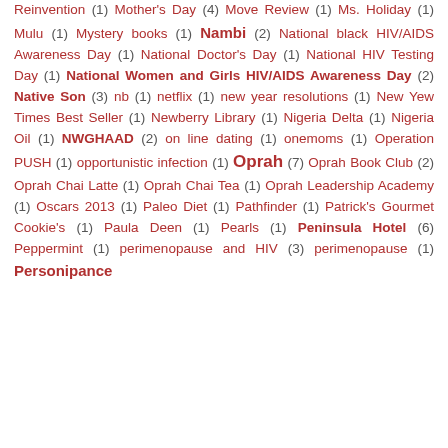Reinvention (1) Mother's Day (4) Move Review (1) Ms. Holiday (1) Mulu (1) Mystery books (1) Nambi (2) National black HIV/AIDS Awareness Day (1) National Doctor's Day (1) National HIV Testing Day (1) National Women and Girls HIV/AIDS Awareness Day (2) Native Son (3) nb (1) netflix (1) new year resolutions (1) New Yew Times Best Seller (1) Newberry Library (1) Nigeria Delta (1) Nigeria Oil (1) NWGHAAD (2) on line dating (1) onemoms (1) Operation PUSH (1) opportunistic infection (1) Oprah (7) Oprah Book Club (2) Oprah Chai Latte (1) Oprah Chai Tea (1) Oprah Leadership Academy (1) Oscars 2013 (1) Paleo Diet (1) Pathfinder (1) Patrick's Gourmet Cookie's (1) Paula Deen (1) Pearls (1) Peninsula Hotel (6) Peppermint (1) perimenopause and HIV (3) perimenopause (1) Personipance